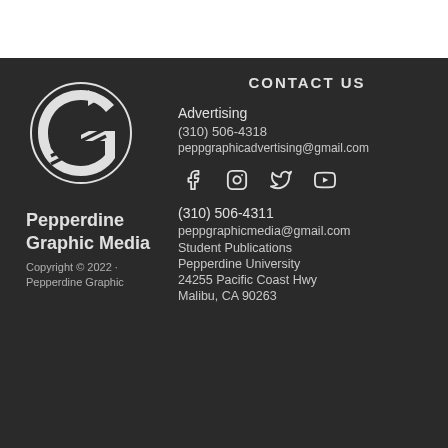[Figure (logo): Pepperdine Graphic Media stylized G logo in white on dark background]
Pepperdine Graphic Media
Copyright © 2022 · Pepperdine Graphic
CONTACT US
Advertising
(310) 506-4318
peppgraphicadvertising@gmail.com
[Figure (other): Social media icons: Facebook, Instagram, Twitter, YouTube]
(310) 506-4311
peppgraphicmedia@gmail.com
Student Publications
Pepperdine University
24255 Pacific Coast Hwy
Malibu, CA 90263